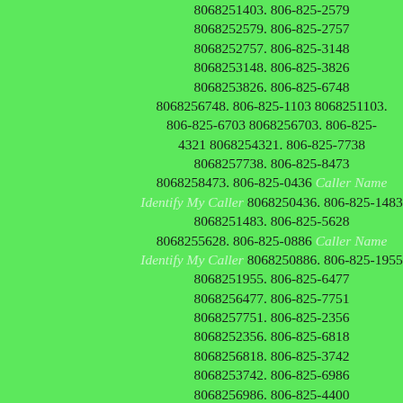8068251403. 806-825-2579 8068252579. 806-825-2757 8068252757. 806-825-3148 8068253148. 806-825-3826 8068253826. 806-825-6748 8068256748. 806-825-1103 8068251103. 806-825-6703 8068256703. 806-825-4321 8068254321. 806-825-7738 8068257738. 806-825-8473 8068258473. 806-825-0436 Caller Name Identify My Caller 8068250436. 806-825-1483 8068251483. 806-825-5628 8068255628. 806-825-0886 Caller Name Identify My Caller 8068250886. 806-825-1955 8068251955. 806-825-6477 8068256477. 806-825-7751 8068257751. 806-825-2356 8068252356. 806-825-6818 8068256818. 806-825-3742 8068253742. 806-825-6986 8068256986. 806-825-4400 8068254400. 806-825-7241 8068257241. 806-825-3560 8068253560. 806-825-0869 Caller Name Identify My Caller 8068250869. 806-825-0880 8068250880. 806-825-3572